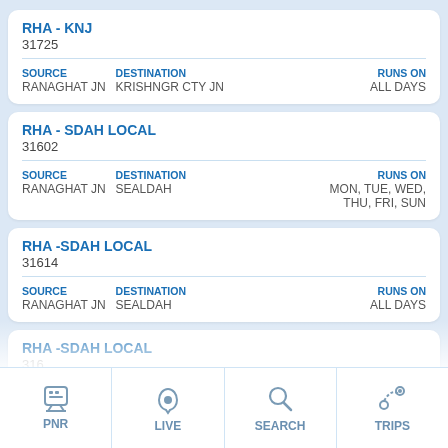RHA - KNJ
31725
SOURCE: RANAGHAT JN | DESTINATION: KRISHNGR CTY JN | RUNS ON: ALL DAYS
RHA - SDAH LOCAL
31602
SOURCE: RANAGHAT JN | DESTINATION: SEALDAH | RUNS ON: MON, TUE, WED, THU, FRI, SUN
RHA -SDAH LOCAL
31614
SOURCE: RANAGHAT JN | DESTINATION: SEALDAH | RUNS ON: ALL DAYS
RHA -SDAH LOCAL
316...
SOURCE: RANAGHAT JN | DESTINATION: SEALDA... | RUNS ON: ...
[Figure (screenshot): Mobile app bottom navigation bar with PNR, LIVE, SEARCH, TRIPS icons]